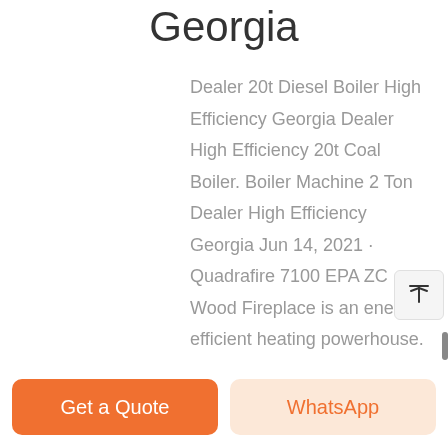Georgia
Dealer 20t Diesel Boiler High Efficiency Georgia Dealer High Efficiency 20t Coal Boiler. Boiler Machine 2 Ton Dealer High Efficiency Georgia Jun 14, 2021 · Quadrafire 7100 EPA ZC Wood Fireplace is an energy-efficient heating powerhouse. This high-performance fireplace is also wonderfully hassle-free and perfect for everyday
Get a Quote
WhatsApp